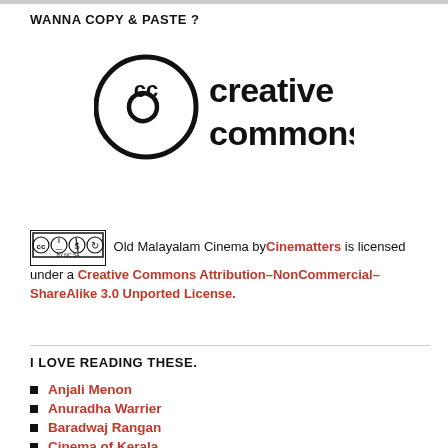WANNA COPY & PASTE ?
[Figure (logo): Creative Commons logo — circle with 'cc' letters inside, followed by bold text 'creative commons']
Old Malayalam Cinema by Cinematters is licensed under a Creative Commons Attribution–NonCommercial–ShareAlike 3.0 Unported License.
I LOVE READING THESE.
Anjali Menon
Anuradha Warrier
Baradwaj Rangan
Cinema of Kerala